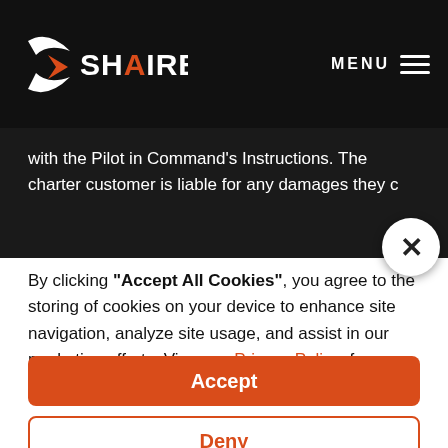SHAIRE — MENU
with the Pilot in Command's Instructions. The charter customer is liable for any damages they c
By clicking "Accept All Cookies", you agree to the storing of cookies on your device to enhance site navigation, analyze site usage, and assist in our marketing efforts. View our Privacy Policy  for more information.
Accept
Deny
Preferences